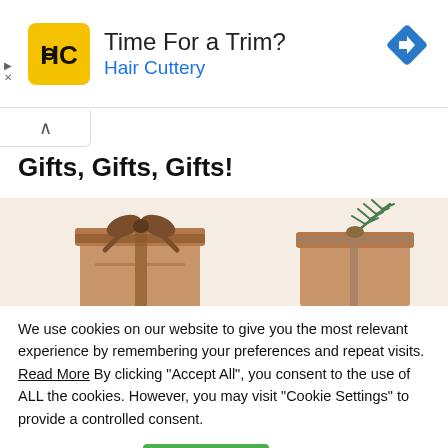[Figure (other): Hair Cuttery advertisement banner with yellow HC logo, text 'Time For a Trim?' and 'Hair Cuttery' in blue, and a blue diamond navigation arrow icon on the right]
[Figure (photo): Two wrapped brown kraft paper gift boxes with twine bows; the right one has a green pine/cedar sprig decoration]
Gifts, Gifts, Gifts!
We use cookies on our website to give you the most relevant experience by remembering your preferences and repeat visits. Read More By clicking "Accept All", you consent to the use of ALL the cookies. However, you may visit "Cookie Settings" to provide a controlled consent.
Cookie Settings | Accept All